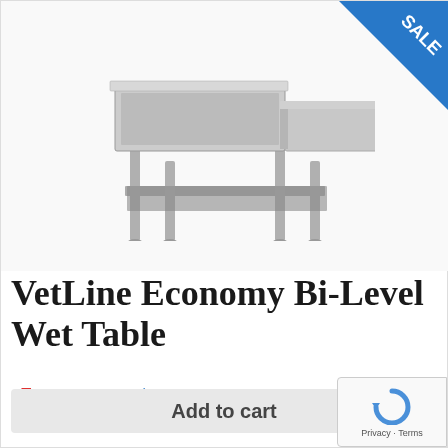[Figure (photo): VetLine Economy Bi-Level Wet Table product photo showing a stainless steel veterinary wet table with two-level top surface and lower shelf, on four legs. A blue triangular SALE badge is in the top-right corner.]
VetLine Economy Bi-Level Wet Table
$2,895.00 $2,512.75
Add to cart